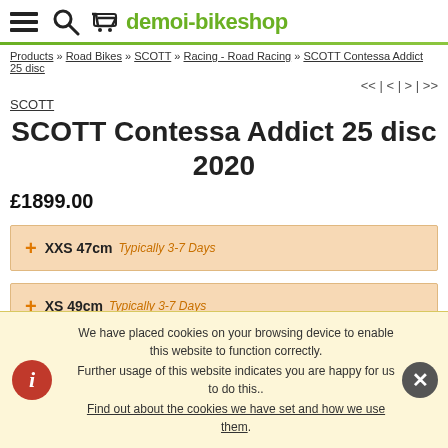demoi-bikeshop
Products » Road Bikes » SCOTT » Racing - Road Racing » SCOTT Contessa Addict 25 disc
<< | < | > | >>
SCOTT
SCOTT Contessa Addict 25 disc 2020
£1899.00
+ XXS 47cm Typically 3-7 Days
+ XS 49cm Typically 3-7 Days
We have placed cookies on your browsing device to enable this website to function correctly. Further usage of this website indicates you are happy for us to do this.. Find out about the cookies we have set and how we use them.